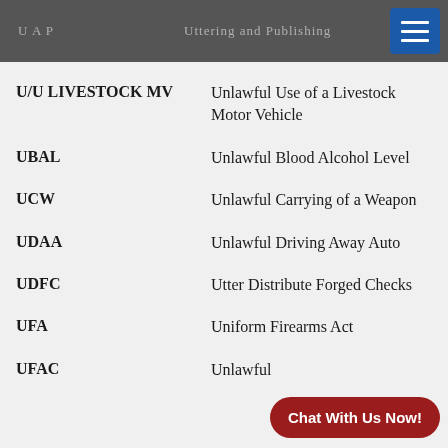U A P   Uttering and Publishing
U/U LIVESTOCK MV — Unlawful Use of a Livestock Motor Vehicle
UBAL — Unlawful Blood Alcohol Level
UCW — Unlawful Carrying of a Weapon
UDAA — Unlawful Driving Away Auto
UDFC — Utter Distribute Forged Checks
UFA — Uniform Firearms Act
UFAC — Unlawful